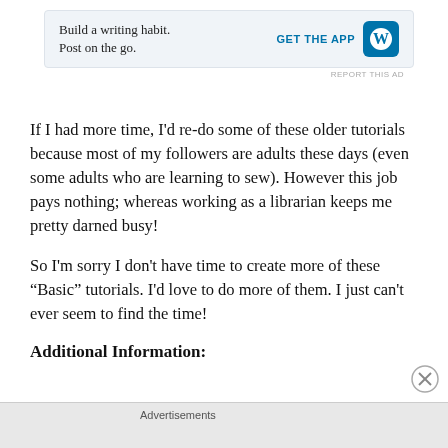[Figure (other): WordPress advertisement banner: 'Build a writing habit. Post on the go.' with GET THE APP button and WordPress logo]
If I had more time, I'd re-do some of these older tutorials because most of my followers are adults these days (even some adults who are learning to sew). However this job pays nothing; whereas working as a librarian keeps me pretty darned busy!
So I'm sorry I don't have time to create more of these “Basic” tutorials. I'd love to do more of them. I just can't ever seem to find the time!
Additional Information:
Advertisements